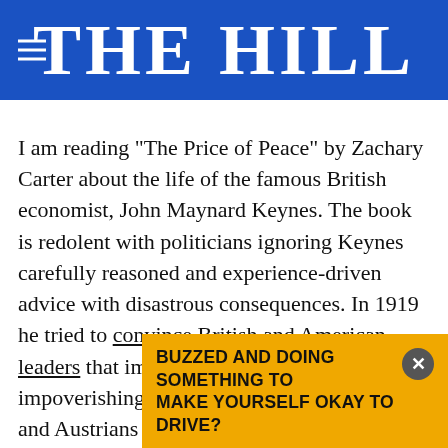THE HILL
I am reading "The Price of Peace" by Zachary Carter about the life of the famous British economist, John Maynard Keynes. The book is redolent with politicians ignoring Keynes carefully reasoned and experience-driven advice with disastrous consequences. In 1919 he tried to convince British and American leaders that imposing vengeful and impoverishing terms on the defeated Germans and Austrians would be a disaster. He was right and from 1920 until 1923 the German inflation, near famine, continuing war... Eastern... that resulted from botched economic policies
[Figure (other): Advertisement banner: 'BUZZED AND DOING SOMETHING TO MAKE YOURSELF OKAY TO DRIVE?' in black bold text on orange/yellow background, with an X close button]